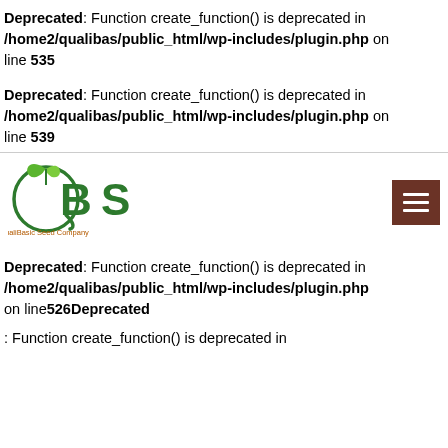Deprecated: Function create_function() is deprecated in /home2/qualibas/public_html/wp-includes/plugin.php on line 535
Deprecated: Function create_function() is deprecated in /home2/qualibas/public_html/wp-includes/plugin.php on line 539
[Figure (logo): QualiBasic Seed Company green logo with QBS letters and leaf motif, with a brown hamburger menu button on the right]
Deprecated: Function create_function() is deprecated in /home2/qualibas/public_html/wp-includes/plugin.php on line526Deprecated
: Function create_function() is deprecated in